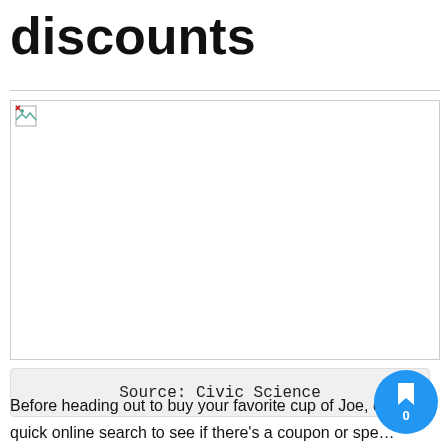discounts
[Figure (photo): Image placeholder – failed to load, shown as empty box with broken image icon]
Source: Civic Science
Before heading out to buy your favorite cup of Joe, do a quick online search to see if there's a coupon or special going on. Check for holidays discounts and social media